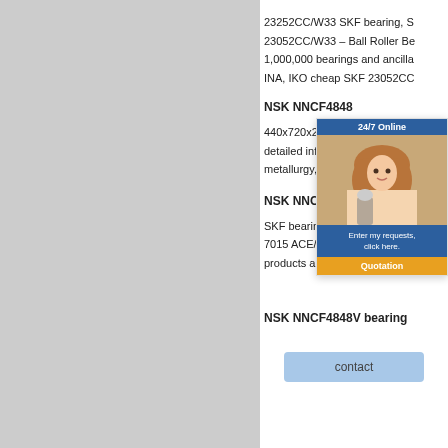[Figure (screenshot): Gray left panel background]
23252CC/W33 SKF bearing, S
23052CC/W33 – Ball Roller Be
1,000,000 bearings and ancilla
INA, IKO cheap SKF 23052CC
NSK NNCF4848
440x720x280 NACH
detailed information
metallurgy, mining,
NSK NNCF4848V bearing
SKF bearing 7015 ACE/HCP4A
7015 ACE/HCP4AH1 on Angul
products and have passed the
[Figure (screenshot): 24/7 Online chat widget with female customer service representative photo, blue header, message text, and orange Quotation button]
[Figure (screenshot): Light blue contact button]
NSK NNCF4848V bearing